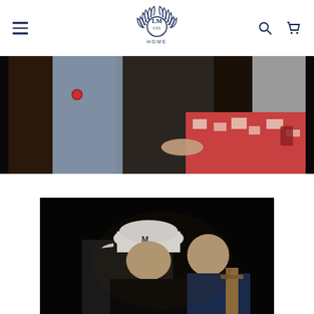LM CO HOME — navigation header with hamburger menu, logo, search and cart icons
[Figure (photo): A group of people sitting together, some wearing colorful clothing including a red and white patterned blanket/wrap, blue apron, gray clothes, photographed in dim indoor lighting]
[Figure (photo): Two men photographed at night against a black background. The man on the left wears a white baseball cap with 'M' logo and a black jacket. The man on the right is in profile wearing a navy blue top.]